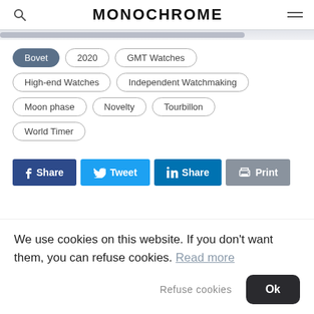MONOCHROME
Bovet
2020
GMT Watches
High-end Watches
Independent Watchmaking
Moon phase
Novelty
Tourbillon
World Timer
Share   Tweet   Share   Print
We use cookies on this website. If you don't want them, you can refuse cookies. Read more
Refuse cookies   Ok